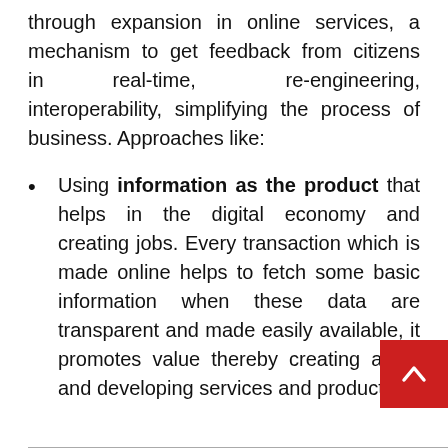through expansion in online services, a mechanism to get feedback from citizens in real-time, re-engineering, interoperability, simplifying the process of business. Approaches like:
Using information as the product that helps in the digital economy and creating jobs. Every transaction which is made online helps to fetch some basic information when these data are transparent and made easily available, it promotes value thereby creating a job and developing services and products